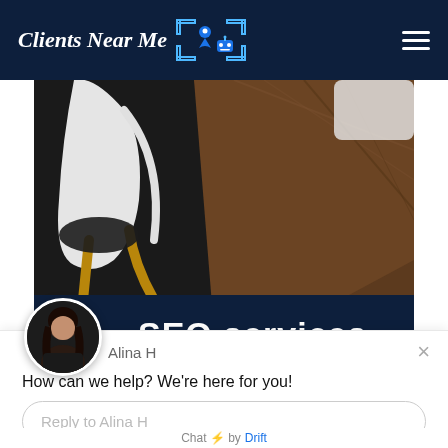Clients Near Me
[Figure (screenshot): Website screenshot showing a header with 'Clients Near Me' logo with location pin and robot icon, hamburger menu, and a hero image of a modern chair against a wooden table, partially overlaid by a navy blue bar with 'SEO services' text, and a Drift chat popup with Alina H avatar, message 'How can we help? We're here for you!' and reply input field.]
How can we help? We're here for you!
Reply to Alina H
Chat ⚡ by Drift